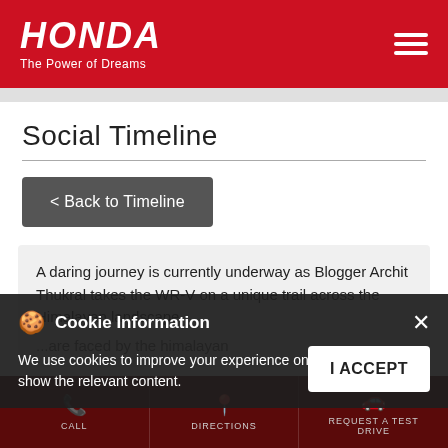HONDA The Power of Dreams
Social Timeline
< Back to Timeline
A daring journey is currently underway as Blogger Archit Thukral takes the WR-V on a unique trail across the Himalayan landscape.
...are faced by the himalayan
Cookie Information
We use cookies to improve your experience on our site and to show the relevant content.
I ACCEPT
CALL   DIRECTIONS   REQUEST A TEST DRIVE